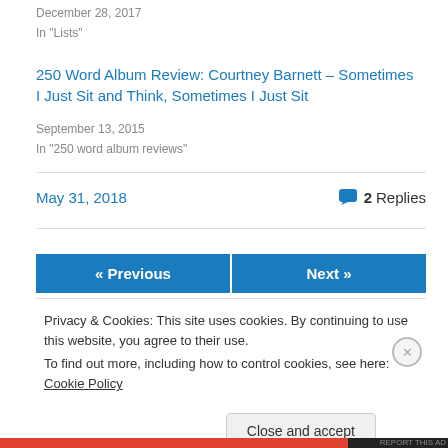December 28, 2017
In "Lists"
250 Word Album Review: Courtney Barnett – Sometimes I Just Sit and Think, Sometimes I Just Sit
September 13, 2015
In "250 word album reviews"
May 31, 2018
2 Replies
« Previous
Next »
Privacy & Cookies: This site uses cookies. By continuing to use this website, you agree to their use.
To find out more, including how to control cookies, see here: Cookie Policy
Close and accept